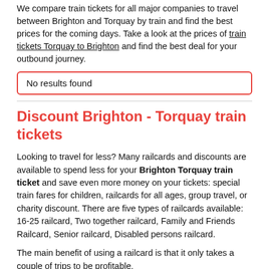We compare train tickets for all major companies to travel between Brighton and Torquay by train and find the best prices for the coming days. Take a look at the prices of train tickets Torquay to Brighton and find the best deal for your outbound journey.
No results found
Discount Brighton - Torquay train tickets
Looking to travel for less? Many railcards and discounts are available to spend less for your Brighton Torquay train ticket and save even more money on your tickets: special train fares for children, railcards for all ages, group travel, or charity discount. There are five types of railcards available: 16-25 railcard, Two together railcard, Family and Friends Railcard, Senior railcard, Disabled persons railcard.
The main benefit of using a railcard is that it only takes a couple of trips to be profitable.
You will need to purchase at least £88 of train tickets throughout the duration of the railcard's validity for the card to be worthwile. This number corresponds to the cost of the railcard, £30, divided by the discount 34%. On average tickets that you buy after each one will